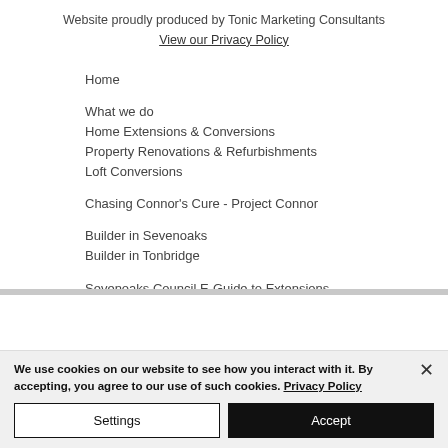Website proudly produced by Tonic Marketing Consultants
View our Privacy Policy
Home
What we do
Home Extensions & Conversions
Property Renovations & Refurbishments
Loft Conversions
Chasing Connor's Cure - Project Connor
Builder in Sevenoaks
Builder in Tonbridge
Sevenoaks Council E-Guide to Extensions
We use cookies on our website to see how you interact with it. By accepting, you agree to our use of such cookies. Privacy Policy
Settings
Accept